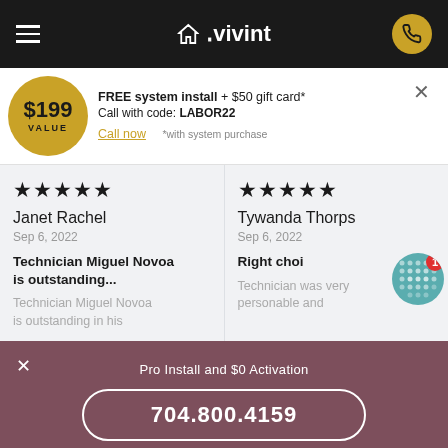Vivint - navigation header with hamburger menu, logo, and phone button
FREE system install + $50 gift card* Call with code: LABOR22 Call now *with system purchase
Janet Rachel - Sep 6, 2022 - Technician Miguel Novoa is outstanding... - Technician Miguel Novoa is outstanding in his
Tywanda Thorps - Sep 6, 2022 - Right choi... - Technician was very personable and
Pro Install and $0 Activation
704.800.4159